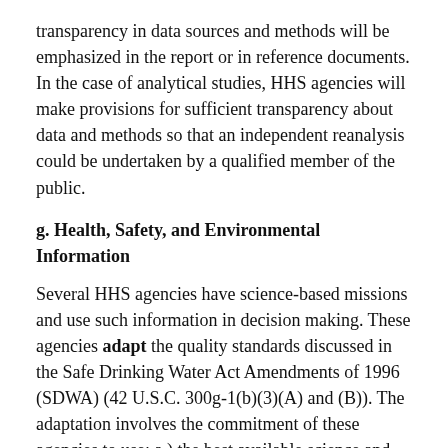transparency in data sources and methods will be emphasized in the report or in reference documents. In the case of analytical studies, HHS agencies will make provisions for sufficient transparency about data and methods so that an independent reanalysis could be undertaken by a qualified member of the public.
g. Health, Safety, and Environmental Information
Several HHS agencies have science-based missions and use such information in decision making. These agencies adapt the quality standards discussed in the Safe Drinking Water Act Amendments of 1996 (SDWA) (42 U.S.C. 300g-1(b)(3)(A) and (B)). The adaptation involves the commitment of these agencies to use: a.) the best available science and supporting studies conducted in accordance with sound and objective scientific practices, including peer reviewed studies when available and b.)